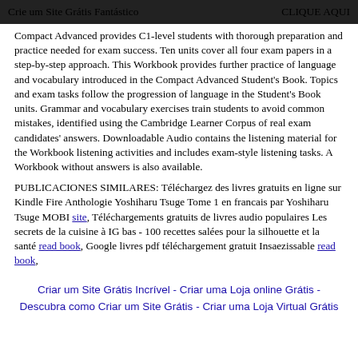Crie um Site Grátis Fantástico   CLIQUE AQUI
Compact Advanced provides C1-level students with thorough preparation and practice needed for exam success. Ten units cover all four exam papers in a step-by-step approach. This Workbook provides further practice of language and vocabulary introduced in the Compact Advanced Student's Book. Topics and exam tasks follow the progression of language in the Student's Book units. Grammar and vocabulary exercises train students to avoid common mistakes, identified using the Cambridge Learner Corpus of real exam candidates' answers. Downloadable Audio contains the listening material for the Workbook listening activities and includes exam-style listening tasks. A Workbook without answers is also available.
PUBLICACIONES SIMILARES: Téléchargez des livres gratuits en ligne sur Kindle Fire Anthologie Yoshiharu Tsuge Tome 1 en francais par Yoshiharu Tsuge MOBI site, Téléchargements gratuits de livres audio populaires Les secrets de la cuisine à IG bas - 100 recettes salées pour la silhouette et la santé read book, Google livres pdf téléchargement gratuit Insaezissable read book,
Criar um Site Grátis Incrível  -  Criar uma Loja online Grátis  -  Descubra como Criar um Site Grátis  -  Criar uma Loja Virtual Grátis